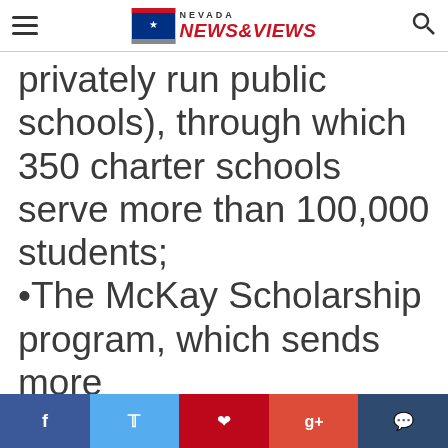Nevada News & Views
privately run public schools), through which 350 charter schools serve more than 100,000 students; •The McKay Scholarship program, which sends more
Social share bar: Facebook, Twitter, Pinterest, Google+, Comment